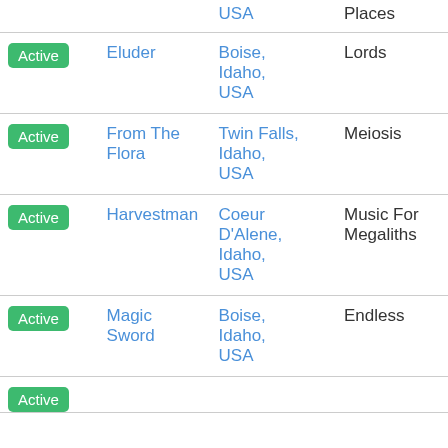| Status | Name | Location | Album |
| --- | --- | --- | --- |
|  |  | USA | Places |
| Active | Eluder | Boise, Idaho, USA | Lords |
| Active | From The Flora | Twin Falls, Idaho, USA | Meiosis |
| Active | Harvestman | Coeur D'Alene, Idaho, USA | Music For Megaliths |
| Active | Magic Sword | Boise, Idaho, USA | Endless |
| Active |  |  |  |